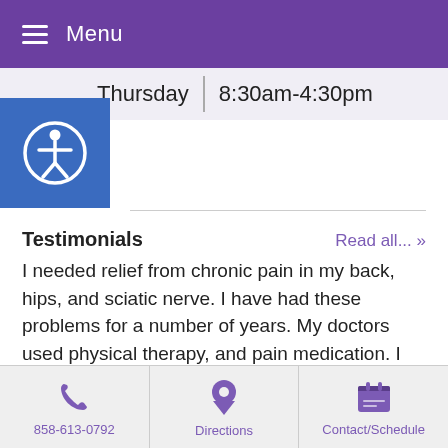Menu
Thursday | 8:30am-4:30pm
[Figure (illustration): Accessibility icon — white figure with circle on blue square background]
Testimonials
Read all... »
I needed relief from chronic pain in my back, hips, and sciatic nerve. I have had these problems for a number of years. My doctors used physical therapy, and pain medication. I can no longer take anti-inflammatory medication. My acupuncture treatments have helped a lot. I can now relax, and
858-613-0792   Directions   Contact/Schedule